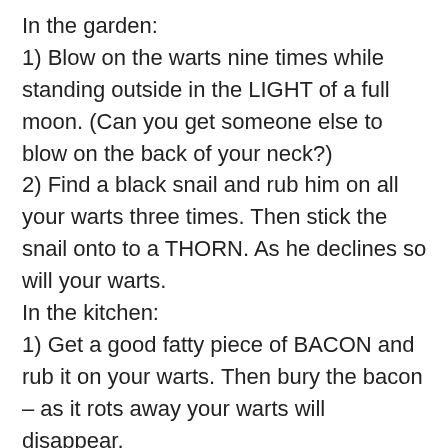In the garden:
1) Blow on the warts nine times while standing outside in the LIGHT of a full moon. (Can you get someone else to blow on the back of your neck?)
2) Find a black snail and rub him on all your warts three times. Then stick the snail onto to a THORN. As he declines so will your warts.
In the kitchen:
1) Get a good fatty piece of BACON and rub it on your warts. Then bury the bacon – as it rots away your warts will disappear.
2) Cut an apple and rub it over the warts; the juice will loosen the wart, and in a few days it will DROP OFF. Any strong acid, either vegetable or mineral, has the same tendency so you may like to experiment with other things